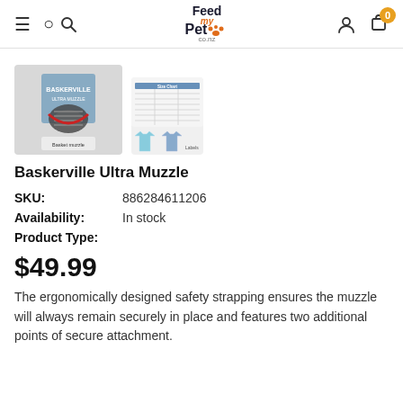Feed my Pet co.nz — navigation bar with hamburger menu, search, logo, user account, cart (0)
[Figure (photo): Product thumbnail images: main image showing Baskerville Ultra Muzzle product box and muzzle, secondary image showing sizing chart and two blue t-shirt icons]
Baskerville Ultra Muzzle
SKU: 886284611206
Availability: In stock
Product Type:
$49.99
The ergonomically designed safety strapping ensures the muzzle will always remain securely in place and features two additional points of secure attachment.